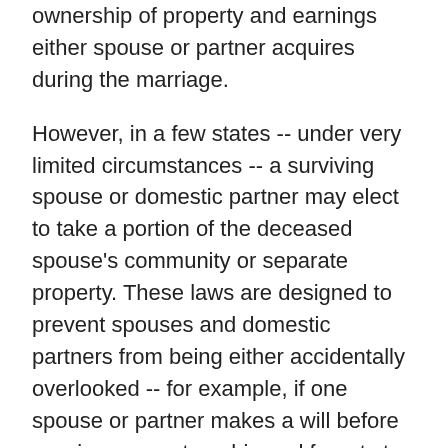ownership of property and earnings either spouse or partner acquires during the marriage.
However, in a few states -- under very limited circumstances -- a surviving spouse or domestic partner may elect to take a portion of the deceased spouse's community or separate property. These laws are designed to prevent spouses and domestic partners from being either accidentally overlooked -- for example, if one spouse or partner makes a will before marriage or partnership and forgets to change it afterwards to include the new spouse or partner -- or deliberately deprived of their fair share of property. These protections are available in Alaska (Alaska Stat. §§ 13.12.201 and following), California (California Prob. Code §§ 21610 and following), Idaho (Idaho Code §§ 15-2-202 and following),